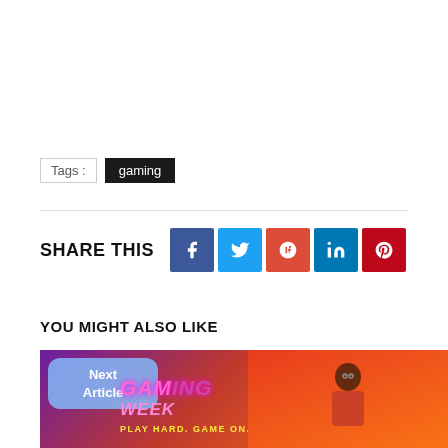Tags : gaming
SHARE THIS
[Figure (infographic): Social share buttons: Facebook (blue), Twitter (light blue), Google+ (red-orange), LinkedIn (blue), Pinterest (red)]
YOU MIGHT ALSO LIKE
[Figure (photo): Gaming Week promotional banner with purple-to-orange gradient background, 'GAMING WEEK' text in pink neon style, 'PLAY HARD. GAME ON.' subtitle, a Next Article button overlay, and a person wearing glasses on the right side]